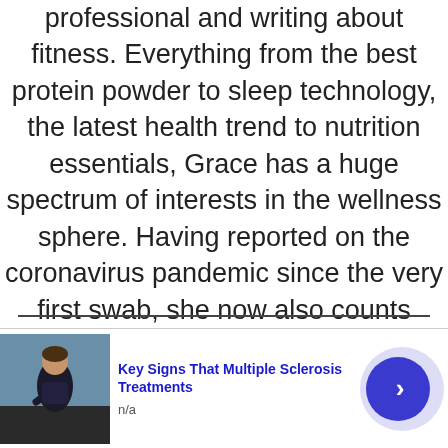professional and writing about fitness. Everything from the best protein powder to sleep technology, the latest health trend to nutrition essentials, Grace has a huge spectrum of interests in the wellness sphere. Having reported on the coronavirus pandemic since the very first swab, she now also counts public health among them.
[Figure (other): Advertisement banner with image of a person exercising outdoors, bold blue title 'Key Signs That Multiple Sclerosis Treatments', source label 'n/a', and a blue circular arrow button on the right.]